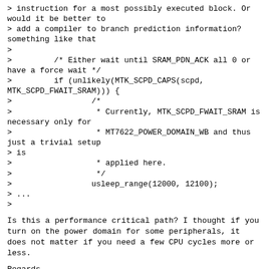> instruction for a most possibly executed block. Or would it be better to
> add a compiler to branch prediction information?
something like that
>
>         /* Either wait until SRAM_PDN_ACK all 0 or have a force wait */
>         if (unlikely(MTK_SCPD_CAPS(scpd, MTK_SCPD_FWAIT_SRAM))) {
>                 /*
>                  * Currently, MTK_SCPD_FWAIT_SRAM is necessary only for
>                  * MT7622_POWER_DOMAIN_WB and thus just a trivial setup
> is
>                  * applied here.
>                  */
>                 usleep_range(12000, 12100);
> ...
>
Is this a performance critical path? I thought if you turn on the power domain for some peripherals, it does not matter if you need a few CPU cycles more or less.
Regards,
Matthias
A permalink raw reply	[flat|nested] 9+ messages in